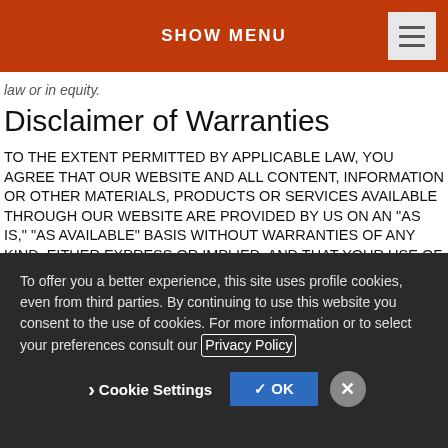SHOW MENU
law or in equity.
Disclaimer of Warranties
TO THE EXTENT PERMITTED BY APPLICABLE LAW, YOU AGREE THAT OUR WEBSITE AND ALL CONTENT, INFORMATION OR OTHER MATERIALS, PRODUCTS OR SERVICES AVAILABLE THROUGH OUR WEBSITE ARE PROVIDED BY US ON AN “AS IS,” “AS AVAILABLE” BASIS WITHOUT WARRANTIES OF ANY KIND, EITHER EXPRESS OR IMPLIED, AND THAT YOUR USE OF OUR WEBSITE AND ALL CONTENT, INFORMATION OR OTHER MATERIALS, PRODUCTS
To offer you a better experience, this site uses profile cookies, even from third parties. By continuing to use this website you consent to the use of cookies. For more information or to select your preferences consult our Privacy Policy